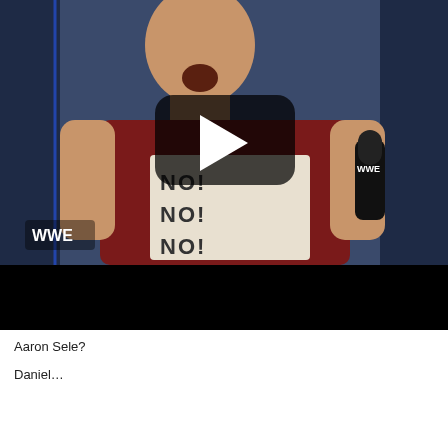[Figure (screenshot): Video thumbnail showing a man in a maroon t-shirt with 'NO! NO! NO!' text printed on it, shouting with mouth open, holding a WWE microphone. A WWE logo is visible in the lower left. A play button overlay is shown in the center of the image. The bottom portion of the video frame is black (letterbox).]
Aaron Sele?
Daniel…